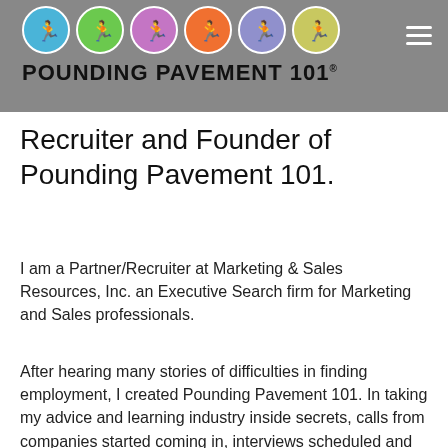POUNDING PAVEMENT 101
Recruiter and Founder of Pounding Pavement 101.
I am a Partner/Recruiter at Marketing & Sales Resources, Inc. an Executive Search firm for Marketing and Sales professionals.
After hearing many stories of difficulties in finding employment, I created Pounding Pavement 101. In taking my advice and learning industry inside secrets, calls from companies started coming in, interviews scheduled and my clients became employed!